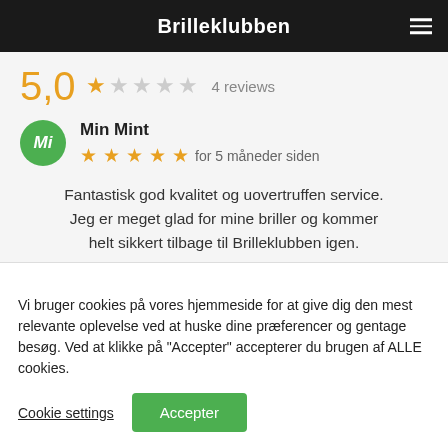Brilleklubben
5,0  4 reviews
Min Mint
★★★★★ for 5 måneder siden
Fantastisk god kvalitet og uovertruffen service. Jeg er meget glad for mine briller og kommer helt sikkert tilbage til Brilleklubben igen.
Vi bruger cookies på vores hjemmeside for at give dig den mest relevante oplevelse ved at huske dine præferencer og gentage besøg. Ved at klikke på "Accepter" accepterer du brugen af ALLE cookies.
Cookie settings  Accepter